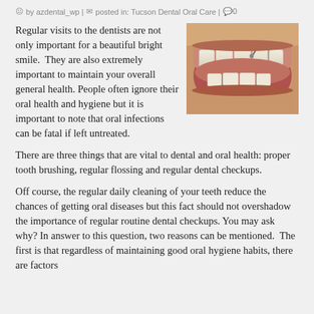by azdental_wp | posted in: Tucson Dental Oral Care | 0
Regular visits to the dentists are not only important for a beautiful bright smile.  They are also extremely important to maintain your overall general health. People often ignore their oral health and hygiene but it is important to note that oral infections can be fatal if left untreated.
[Figure (photo): Close-up photo of an open mouth showing dental work/teeth being examined or treated]
There are three things that are vital to dental and oral health: proper tooth brushing, regular flossing and regular dental checkups.
Off course, the regular daily cleaning of your teeth reduce the chances of getting oral diseases but this fact should not overshadow the importance of regular routine dental checkups. You may ask why? In answer to this question, two reasons can be mentioned.  The first is that regardless of maintaining good oral hygiene habits, there are factors